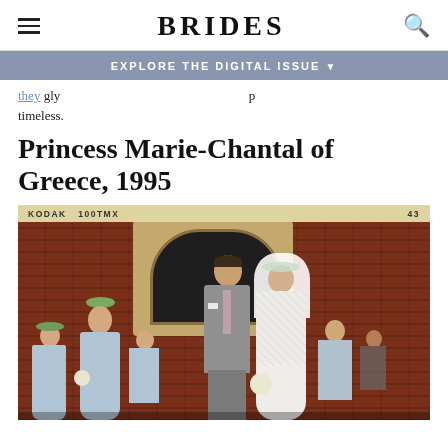BRIDES
EXPLORE THE DIGITAL ISSUE ▼
timeless.
Princess Marie-Chantal of Greece, 1995
[Figure (photo): Wedding photo of Princess Marie-Chantal of Greece and Prince Pavlos, 1995. Shot on Kodak 100TMX film (frame 43). The couple stands in front of a red brick building with a stone arch window. The groom wears a gray suit with a pink tie; the bride wears a white lace gown with a veil. Several children in pale blue dresses with flower wreaths stand nearby as flower girls and page boys.]